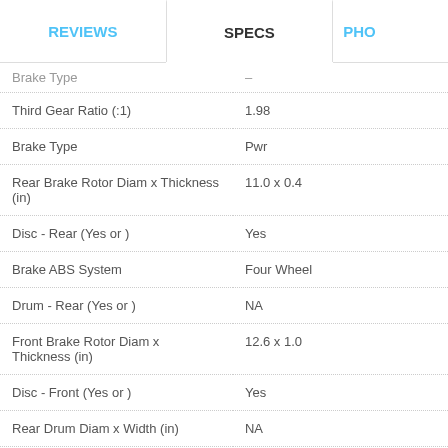REVIEWS | SPECS | PHO
| Spec | Value |
| --- | --- |
| Brake Type (truncated) | – |
| Third Gear Ratio (:1) | 1.98 |
| Brake Type | Pwr |
| Rear Brake Rotor Diam x Thickness (in) | 11.0 x 0.4 |
| Disc - Rear (Yes or ) | Yes |
| Brake ABS System | Four Wheel |
| Drum - Rear (Yes or ) | NA |
| Front Brake Rotor Diam x Thickness (in) | 12.6 x 1.0 |
| Disc - Front (Yes or ) | Yes |
| Rear Drum Diam x Width (in) | NA |
| Steering Type | Pwr Rack & Pinion |